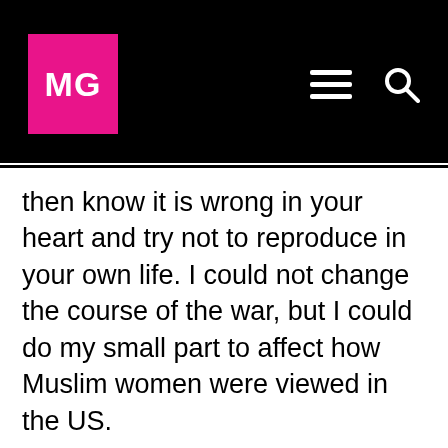MG
then know it is wrong in your heart and try not to reproduce in your own life. I could not change the course of the war, but I could do my small part to affect how Muslim women were viewed in the US.
So to me, there is no paradox between my identity as an academic, an activist, and a person of faith. My decision to wear the hijab grew out of the desire to resist the imposition of the narrative of oppression and victimhood onto